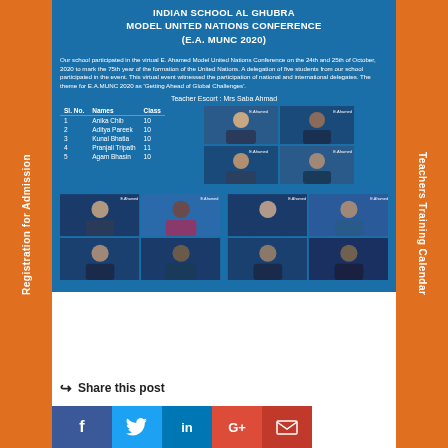INDIAN SCHOOL AL GHUBRA MODEL UNITED NATIONS CONFERENCE (E.A. MUNC 2020)
Our school participated in the virtual E. Ahamed Model United Nations Conference on the 24th and 25th of October, 2020 to mark the 75th year of the formation of the United Nations. A delegation of five students from our school participated in the event. This virtual event witnessed the participation of national and international delegates. The theme for E.A.MUNC 2020 as 'Getting Ahead of Global Challenges'.
Teacher Escort : Mrs Saba Ahmad
| Sl. No. | Names | Class |
| --- | --- | --- |
| 1 | Anika Chib | 10 |
| 2 | Aditya Pareek | 10 |
| 3 | Kunal Bhatia | 10 |
| 4 | Pranjali Tripath | 11 |
| 5 | Agam Bhasin | 10 |
[Figure (photo): Virtual conference screenshot showing student delegates in video grid]
[Figure (photo): Virtual conference screenshot showing more student delegates in video grid]
Share this post
[Figure (infographic): Social media share buttons: Facebook, Twitter, LinkedIn, Google+, Email]